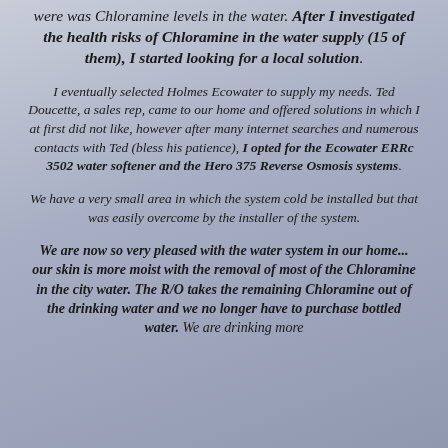were was Chloramine levels in the water. After I investigated the health risks of Chloramine in the water supply (15 of them), I started looking for a local solution.
I eventually selected Holmes Ecowater to supply my needs. Ted Doucette, a sales rep, came to our home and offered solutions in which I at first did not like, however after many internet searches and numerous contacts with Ted (bless his patience), I opted for the Ecowater ERRc 3502 water softener and the Hero 375 Reverse Osmosis systems.
We have a very small area in which the system cold be installed but that was easily overcome by the installer of the system.
We are now so very pleased with the water system in our home... our skin is more moist with the removal of most of the Chloramine in the city water. The R/O takes the remaining Chloramine out of the drinking water and we no longer have to purchase bottled water. We are drinking more